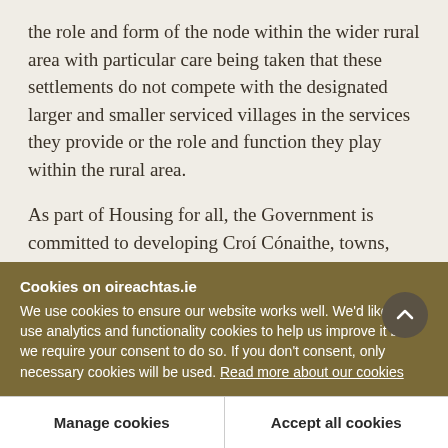the role and form of the node within the wider rural area with particular care being taken that these settlements do not compete with the designated larger and smaller serviced villages in the services they provide or the role and function they play within the rural area.
As part of Housing for all, the Government is committed to developing Croí Cónaithe, towns, which will provide funding for local authorities to provide serviced sites with appropriate infrastructure
Cookies on oireachtas.ie
We use cookies to ensure our website works well. We'd like to use analytics and functionality cookies to help us improve it but we require your consent to do so. If you don't consent, only necessary cookies will be used. Read more about our cookies
Manage cookies
Accept all cookies